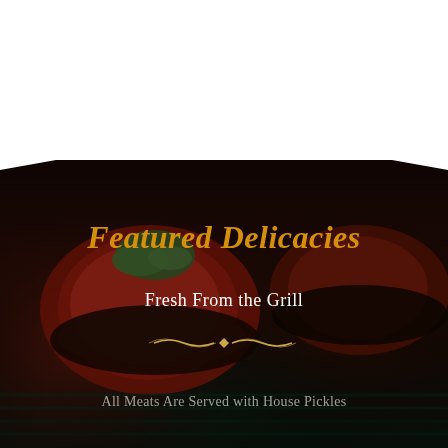[Figure (photo): Dark moody background photo of grilled burger/tomato with herbs on a dark surface, with a white V-notch shape at the top]
Featured Delicacies
Fresh From the Grill
[Figure (illustration): Decorative golden ornamental divider]
All Meats Are Served with House Pickles